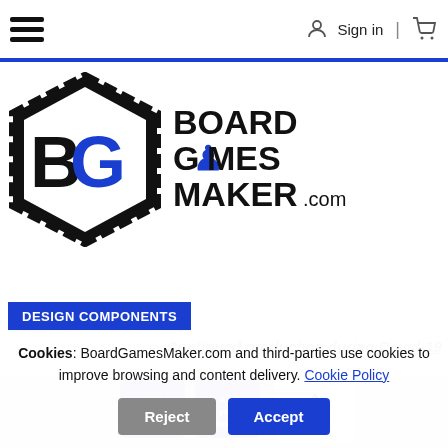Sign in | [cart icon]
[Figure (logo): BoardGamesMaker.com logo with hexagonal badge icon and bold text]
DESIGN COMPONENTS
Continued production during Covid-19
[Figure (photo): Poker size custom playing cards product photo showing blue custom cards and ace of spades]
Cookies: BoardGamesMaker.com and third-parties use cookies to improve browsing and content delivery. Cookie Policy
Reject
Accept